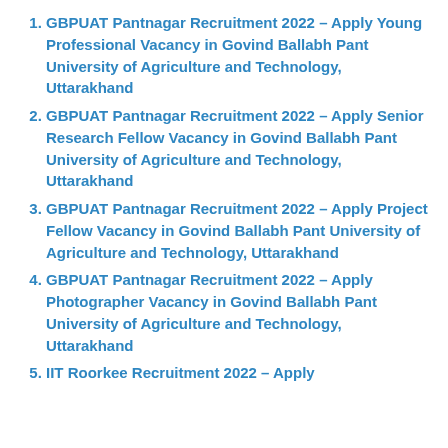GBPUAT Pantnagar Recruitment 2022 – Apply Young Professional Vacancy in Govind Ballabh Pant University of Agriculture and Technology, Uttarakhand
GBPUAT Pantnagar Recruitment 2022 – Apply Senior Research Fellow Vacancy in Govind Ballabh Pant University of Agriculture and Technology, Uttarakhand
GBPUAT Pantnagar Recruitment 2022 – Apply Project Fellow Vacancy in Govind Ballabh Pant University of Agriculture and Technology, Uttarakhand
GBPUAT Pantnagar Recruitment 2022 – Apply Photographer Vacancy in Govind Ballabh Pant University of Agriculture and Technology, Uttarakhand
IIT Roorkee Recruitment 2022 – Apply